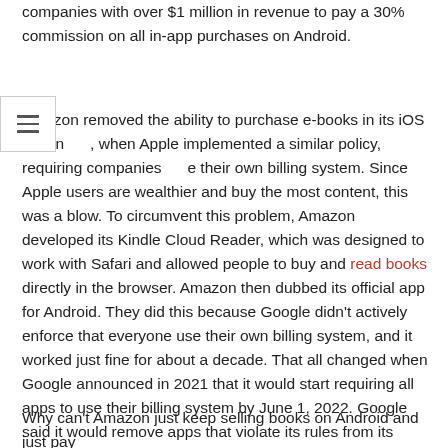companies with over $1 million in revenue to pay a 30% commission on all in-app purchases on Android.
Amazon removed the ability to purchase e-books in its iOS app in , when Apple implemented a similar policy, requiring companies e their own billing system. Since Apple users are wealthier and buy the most content, this was a blow. To circumvent this problem, Amazon developed its Kindle Cloud Reader, which was designed to work with Safari and allowed people to buy and read books directly in the browser. Amazon then dubbed its official app for Android. They did this because Google didn't actively enforce that everyone use their own billing system, and it worked just fine for about a decade. That all changed when Google announced in 2021 that it would start requiring all apps to use their billing system by June 1, 2022. Google said it would remove apps that violate its rules from its system. billing.
Why can't Amazon just keep selling books on Android and just pay Google the 30% commission on competitive titles? At least...